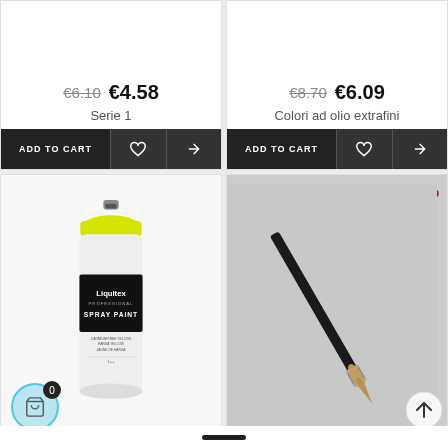€6.10  €4.58
Serie 1
ADD TO CART
€8.70  €6.09
Colori ad olio extrafini
ADD TO CART
[Figure (photo): Liquitex Professional Spray Paint can with yellow cap]
-10%
[Figure (photo): Fine art brush on grey background]